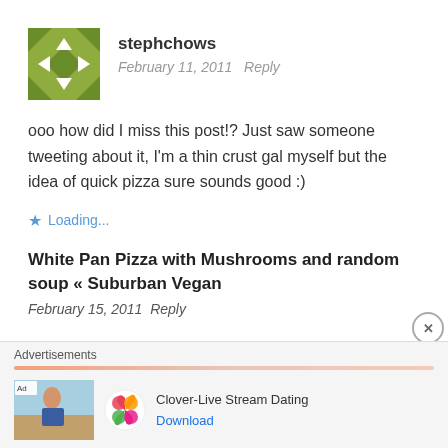stephchows
February 11, 2011  Reply
ooo how did I miss this post!? Just saw someone tweeting about it, I'm a thin crust gal myself but the idea of quick pizza sure sounds good :)
Loading...
White Pan Pizza with Mushrooms and random soup « Suburban Vegan
February 15, 2011  Reply
Advertisements
[Figure (screenshot): Ad banner: Clover-Live Stream Dating with app icon and Download link]